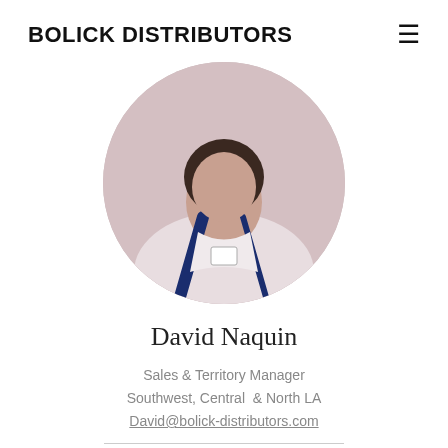BOLICK DISTRIBUTORS
[Figure (photo): Circular cropped profile photo of David Naquin, a man wearing a light-colored shirt and dark lanyard, photo is partially cropped at top]
David Naquin
Sales & Territory Manager
Southwest, Central  & North LA
David@bolick-distributors.com
General Inquiry